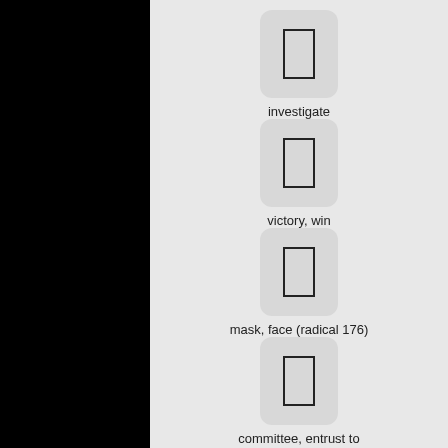[Figure (illustration): Flashcard with empty rectangle placeholder for Chinese character, labeled 'investigate']
investigate
[Figure (illustration): Flashcard with empty rectangle placeholder for Chinese character, labeled 'victory, win']
victory, win
[Figure (illustration): Flashcard with empty rectangle placeholder for Chinese character, labeled 'mask, face (radical 176)']
mask, face (radical 176)
[Figure (illustration): Flashcard with empty rectangle placeholder for Chinese character, labeled 'committee, entrust to']
committee, entrust to